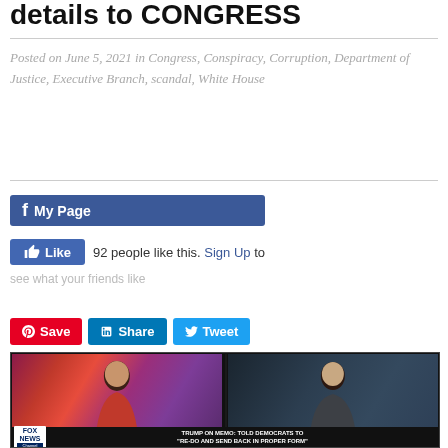details to CONGRESS
Posted on June 5, 2021 in Congress, Conspiracy, Corruption, Department of Justice, Executive Branch, scandal, White House
[Figure (screenshot): Facebook social widget showing 'My Page' button and 'Like' button with '92 people like this. Sign Up to see what your friends like']
[Figure (screenshot): Social sharing buttons: Pinterest Save, LinkedIn Share, Twitter Tweet]
[Figure (screenshot): Fox News screenshot showing two news anchors split-screen with chyron: 'TRUMP ON MEMO: TOLD DEMOCRATS TO "RE-DO AND SEND BACK IN PROPER FORM"' on Justice w/Judge Jeanine]